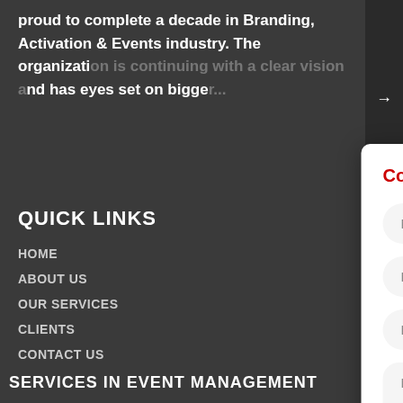proud to complete a decade in Branding, Activation & Events industry. The organization is continuing with a clear vision and has eyes set on bigger...
QUICK LINKS
HOME
ABOUT US
OUR SERVICES
CLIENTS
CONTACT US
GALLERY
SERVICES IN EVENT MANAGEMENT
[Figure (screenshot): Contact Form modal dialog with fields for Name*, Phone*, Email*, and Message on a dark website background with red and green sidebar buttons]